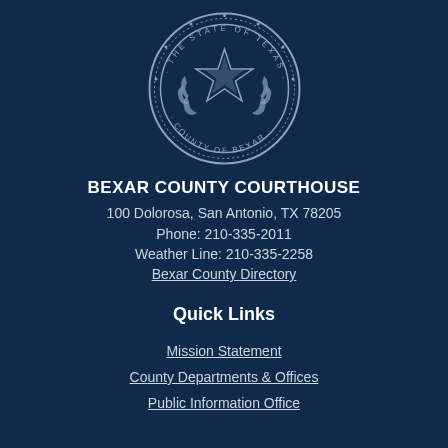[Figure (logo): Bexar County seal — circular seal with text 'THE STATE OF TEXAS · COUNTY OF BEXAR' around the border, a central five-pointed star, and decorative wreath, rendered in light blue/grey on dark navy background]
BEXAR COUNTY COURTHOUSE
100 Dolorosa, San Antonio, TX 78205
Phone: 210-335-2011
Weather Line: 210-335-2258
Bexar County Directory
Quick Links
Mission Statement
County Departments & Offices
Public Information Office